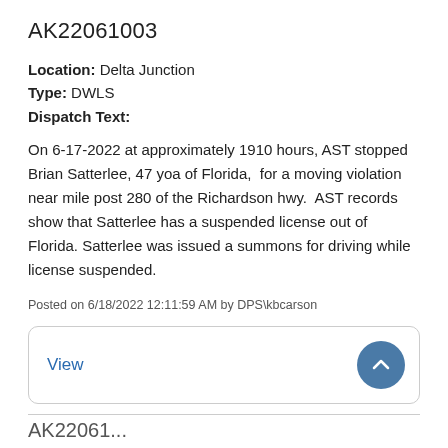AK22061003
Location: Delta Junction
Type: DWLS
Dispatch Text:
On 6-17-2022 at approximately 1910 hours, AST stopped Brian Satterlee, 47 yoa of Florida,  for a moving violation near mile post 280 of the Richardson hwy.  AST records show that Satterlee has a suspended license out of Florida.  Satterlee was issued a summons for driving while license suspended.
Posted on 6/18/2022 12:11:59 AM by DPS\kbcarson
View
AK22061...